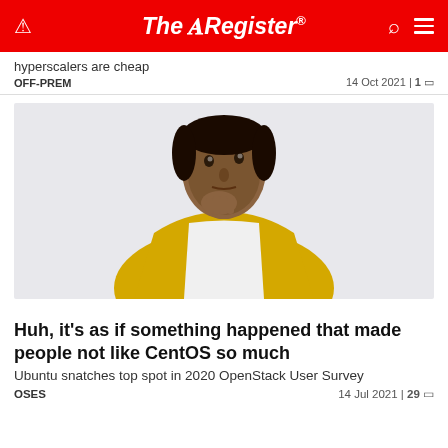The Register
hyperscalers are cheap
OFF-PREM    14 Oct 2021 | 1
[Figure (photo): A man in a yellow cardigan and white shirt holding his hand to his chin in a thinking pose, against a light background]
Huh, it's as if something happened that made people not like CentOS so much
Ubuntu snatches top spot in 2020 OpenStack User Survey
OSES    14 Jul 2021 | 29